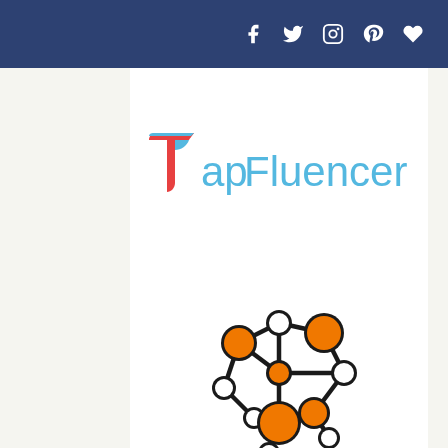Social media icons: Facebook, Twitter, Instagram, Pinterest, Favorite
[Figure (logo): TapFluencer logo with stylized red and blue T icon and blue text reading 'Tapfluencer']
[Figure (illustration): Network graph icon with orange and white nodes connected by black lines, showing an interconnected social network structure]